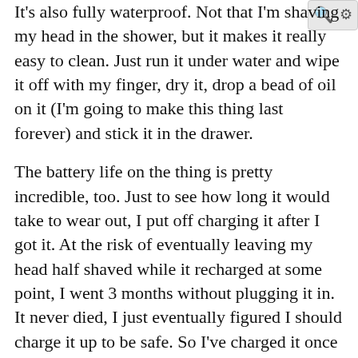It's also fully waterproof. Not that I'm shaving my head in the shower, but it makes it really easy to clean. Just run it under water and wipe it off with my finger, dry it, drop a bead of oil on it (I'm going to make this thing last forever) and stick it in the drawer.
The battery life on the thing is pretty incredible, too. Just to see how long it would take to wear out, I put off charging it after I got it. At the risk of eventually leaving my head half shaved while it recharged at some point, I went 3 months without plugging it in. It never died, I just eventually figured I should charge it up to be safe. So I've charged it once in 6 months now. Granted, 15 minutes of use once a week shouldn't kill a battery too fast, but I'm still impressed. Beats my last pair of cordless clippers ten-fold.
The Shortcut comes with 9 attachable combs for